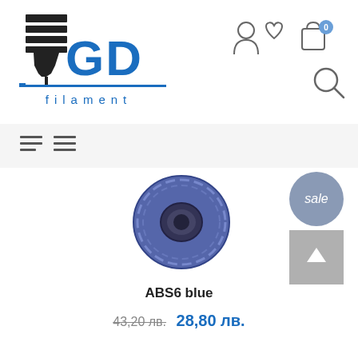[Figure (logo): GD Filament logo with 3D printer icon and blue GD text with underline and 'filament' text]
[Figure (screenshot): E-commerce header with user, wishlist, cart (0) icons and search icon]
[Figure (infographic): Navigation bar with two hamburger/menu icons]
[Figure (photo): Blue ABS filament spool product image]
sale
ABS6 blue
43,20 лв.  28,80 лв.